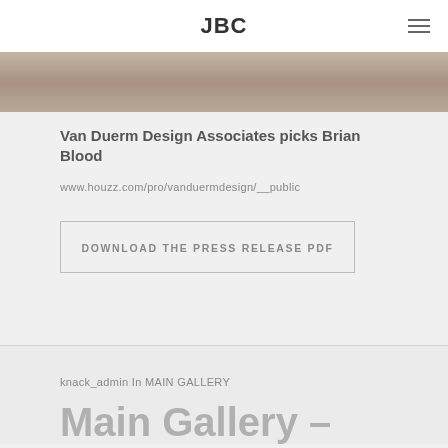JBC
[Figure (photo): Partial view of a photograph showing textures in brown and beige tones, cropped at the top]
Van Duerm Design Associates picks Brian Blood
www.houzz.com/pro/vanduermdesign/__public
DOWNLOAD THE PRESS RELEASE PDF
knack_admin In MAIN GALLERY
Main Gallery –